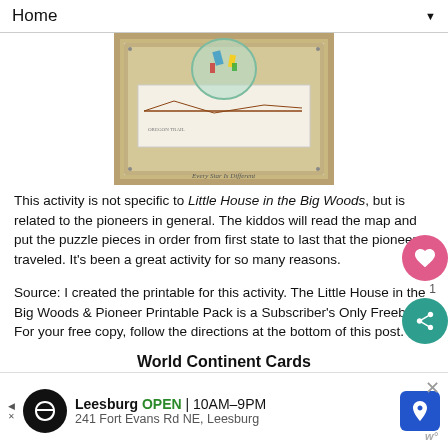Home
[Figure (photo): Photo of a wooden framed display with a pioneer trail map and a circular glass dish with colorful items on top. Watermark reads 'Every Star Is Different'.]
This activity is not specific to Little House in the Big Woods, but is related to the pioneers in general.  The kiddos will read the map and put the puzzle pieces in order from first state to last that the pioneers traveled.  It's been a great activity for so many reasons.
Source: I created the printable for this activity. The Little House in the Big Woods & Pioneer Printable Pack is a Subscriber's Only Freebie. For your free copy, follow the directions at the bottom of this post.
World Continent Cards